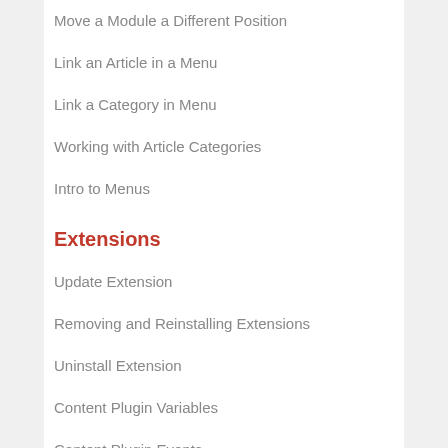Move a Module a Different Position
Link an Article in a Menu
Link a Category in Menu
Working with Article Categories
Intro to Menus
Extensions
Update Extension
Removing and Reinstalling Extensions
Uninstall Extension
Content Plugin Variables
Content Plugin Events
VirtueMart